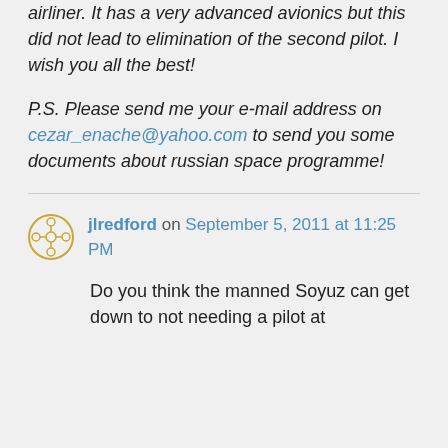airliner. It has a very advanced avionics but this did not lead to elimination of the second pilot. I wish you all the best!

P.S. Please send me your e-mail address on cezar_enache@yahoo.com to send you some documents about russian space programme!
jlredford on September 5, 2011 at 11:25 PM
Do you think the manned Soyuz can get down to not needing a pilot at